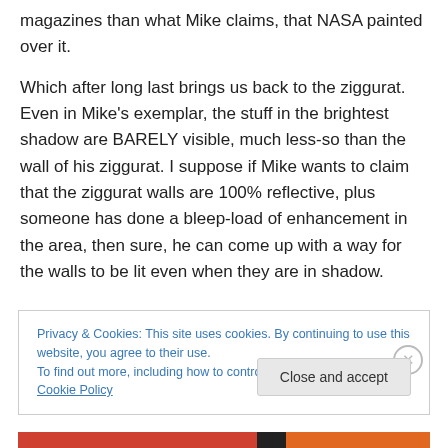magazines than what Mike claims, that NASA painted over it.
Which after long last brings us back to the ziggurat. Even in Mike's exemplar, the stuff in the brightest shadow are BARELY visible, much less-so than the wall of his ziggurat. I suppose if Mike wants to claim that the ziggurat walls are 100% reflective, plus someone has done a bleep-load of enhancement in the area, then sure, he can come up with a way for the walls to be lit even when they are in shadow.
Privacy & Cookies: This site uses cookies. By continuing to use this website, you agree to their use.
To find out more, including how to control cookies, see here: Cookie Policy